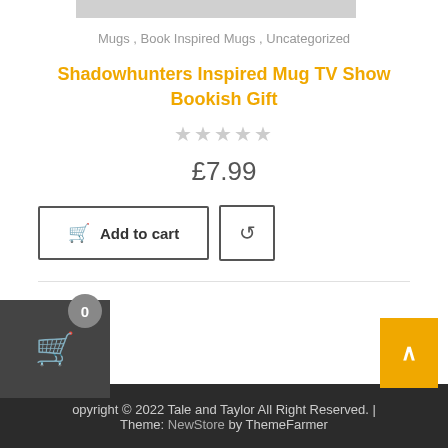[Figure (photo): Partial product image (top cropped), gray placeholder strip]
Mugs, Book Inspired Mugs, Uncategorized
Shadowhunters Inspired Mug TV Show Bookish Gift
★★★★★ (empty stars rating)
£7.99
[Figure (other): Add to cart button and refresh/wishlist button]
Copyright © 2022 Tale and Taylor All Right Reserved. | Theme: NewStore by ThemeFarmer